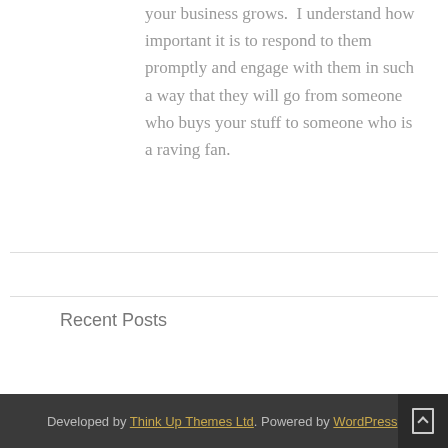your business grows.  I understand how important it is to respond to them promptly and engage with them in such a way that they will go from someone who buys your stuff to someone who is a raving fan.
Recent Posts
Developed by Think Up Themes Ltd. Powered by WordPress.